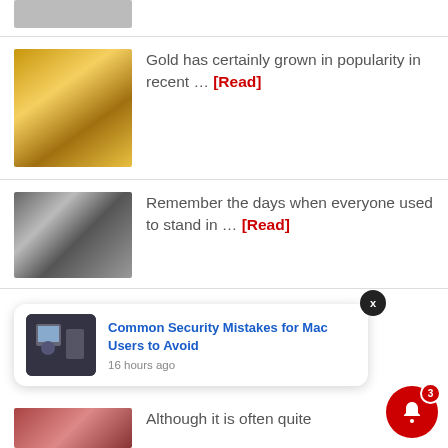[Figure (photo): Partial top image thumbnail, cropped]
Gold has certainly grown in popularity in recent … [Read]
[Figure (photo): Gold bars being handled, stacked gold ingots]
Remember the days when everyone used to stand in … [Read]
[Figure (photo): Calculator and financial documents on a desk]
[Figure (photo): Notification popup thumbnail: person at computer]
Common Security Mistakes for Mac Users to Avoid
16 hours ago
[Figure (photo): Bottom article thumbnail, partially visible]
Although it is often quite